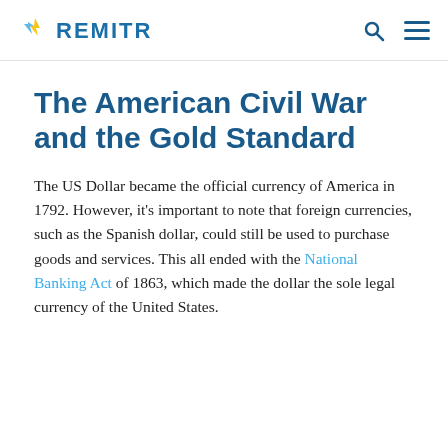REMITR
The American Civil War and the Gold Standard
The US Dollar became the official currency of America in 1792. However, it's important to note that foreign currencies, such as the Spanish dollar, could still be used to purchase goods and services. This all ended with the National Banking Act of 1863, which made the dollar the sole legal currency of the United States.